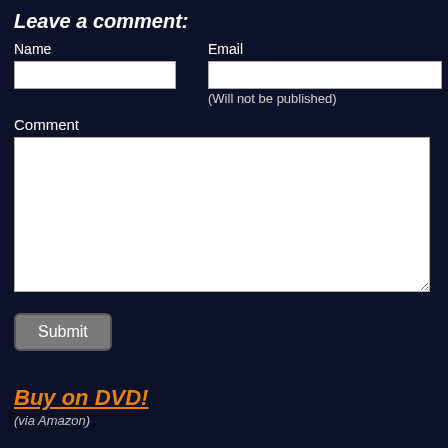Leave a comment:
Name
Email
(Will not be published)
Comment
Submit
Buy on DVD!
(via Amazon)
Synopsis
Max is a twenty-something girl who comes from a poor, working-class family. Caroline is from a wealthy family but is